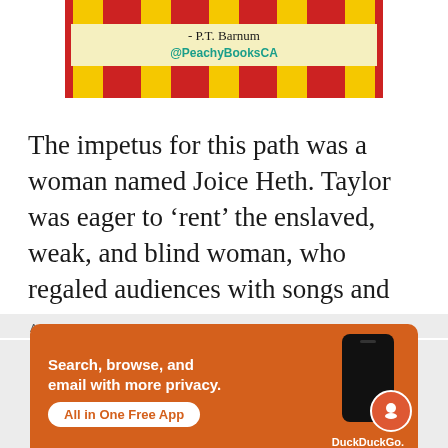[Figure (illustration): Circus-style banner with red and yellow stripes, showing '- P.T. Barnum' and '@PeachyBooksCA' in teal color on a cream/yellow background]
The impetus for this path was a woman named Joice Heth. Taylor was eager to ‘rent’ the enslaved, weak, and blind woman, who regaled audiences with songs and stories where she claimed to be 161-years old, and the former nanny of George
Advertisements
[Figure (screenshot): DuckDuckGo advertisement on orange background: 'Search, browse, and email with more privacy. All in One Free App' with a phone image and DuckDuckGo logo]